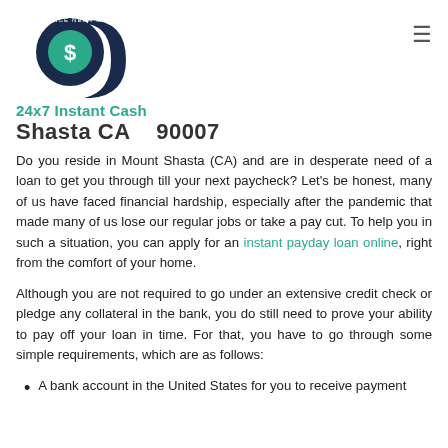[Figure (logo): Advance Near Me logo with circular coin icon and dark navy stylized letter d shape, with text '24x7 Instant Cash' below in teal/green]
Shasta CA   90007
Do you reside in Mount Shasta (CA) and are in desperate need of a loan to get you through till your next paycheck? Let's be honest, many of us have faced financial hardship, especially after the pandemic that made many of us lose our regular jobs or take a pay cut. To help you in such a situation, you can apply for an instant payday loan online, right from the comfort of your home.
Although you are not required to go under an extensive credit check or pledge any collateral in the bank, you do still need to prove your ability to pay off your loan in time. For that, you have to go through some simple requirements, which are as follows:
A bank account in the United States for you to receive payment